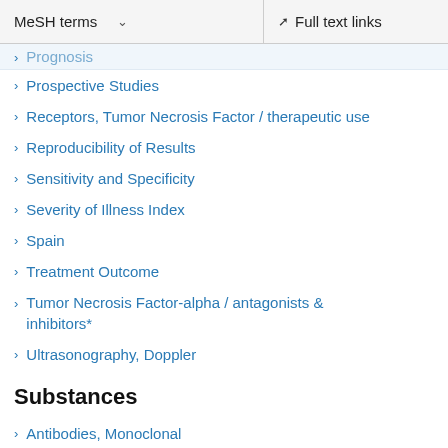MeSH terms  ∨    Full text links
Prognosis
Prospective Studies
Receptors, Tumor Necrosis Factor / therapeutic use
Reproducibility of Results
Sensitivity and Specificity
Severity of Illness Index
Spain
Treatment Outcome
Tumor Necrosis Factor-alpha / antagonists & inhibitors*
Ultrasonography, Doppler
Substances
Antibodies, Monoclonal
Antibodies, Monoclonal, Humanized
Antirheumatic Agents
Immunoglobulin G